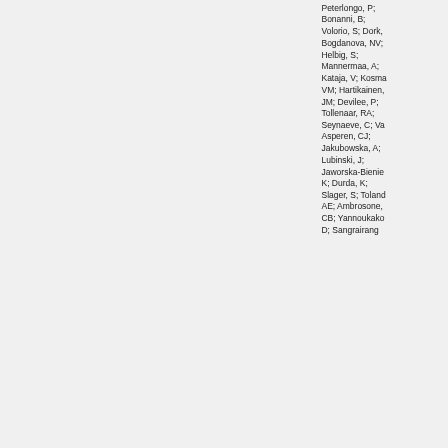Peterlongo, P; Bonanni, B; Volorio, S; Dork, Bogdanova, NV; Helbig, S; Mannermaa, A; Kataja, V; Kosma VM; Hartikainen, JM; Devilee, P; Tollenaar, RA; Seynaeve, C; Van Asperen, CJ; Jakubowska, A; Lubinski, J; Jaworska-Bienie K; Durda, K; Slager, S; Toland AE; Ambrosone, CB; Yannoukako D; Sangrairang